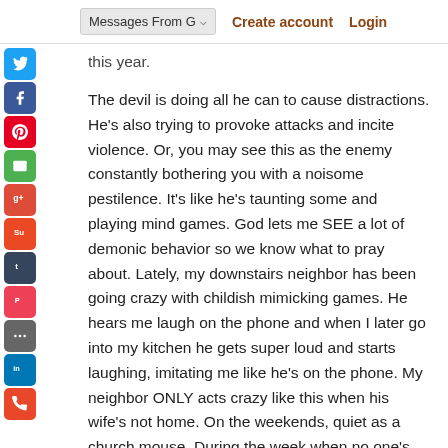Messages From G... | Create account | Login
this year.
The devil is doing all he can to cause distractions. He's also trying to provoke attacks and incite violence. Or, you may see this as the enemy constantly bothering you with a noisome pestilence. It's like he's taunting some and playing mind games. God lets me SEE a lot of demonic behavior so we know what to pray about. Lately, my downstairs neighbor has been going crazy with childish mimicking games. He hears me laugh on the phone and when I later go into my kitchen he gets super loud and starts laughing, imitating me like he's on the phone. My neighbor ONLY acts crazy like this when his wife's not home. On the weekends, quiet as a church mouse. During the week when no one's around but me (and God) it's devilish behavior and personal attacks.
Father God said to remind you to say, "Remove me from the hands of my enemies" when you